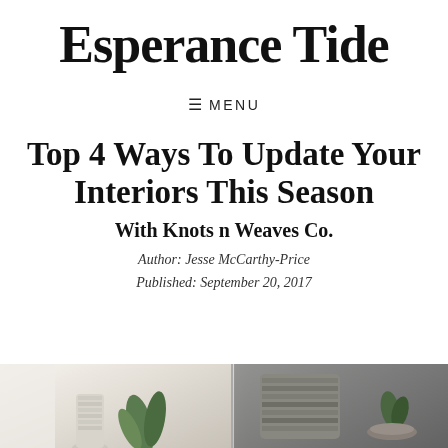Esperance Tide
☰ MENU
Top 4 Ways To Update Your Interiors This Season
With Knots n Weaves Co.
Author: Jesse McCarthy-Price
Published: September 20, 2017
[Figure (photo): Photo collage showing interior decor items including a rope/yarn vase, green plant, striped textile cushion, and decorative bowl with plant on a chair]